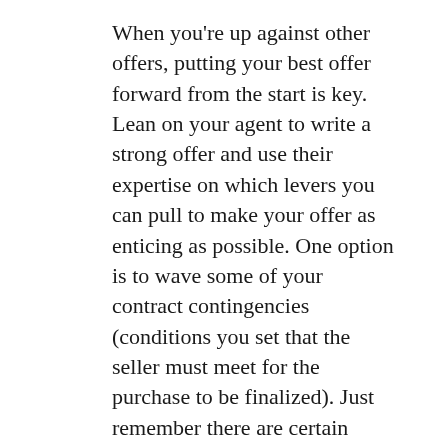When you're up against other offers, putting your best offer forward from the start is key. Lean on your agent to write a strong offer and use their expertise on which levers you can pull to make your offer as enticing as possible. One option is to wave some of your contract contingencies (conditions you set that the seller must meet for the purchase to be finalized). Just remember there are certain contingencies you don't want to give up, like the home inspection.
BOTTOM LINE
No matter what, your agent is your best resource for making an offer that stands out in a competitive market. Let's connect to talk through what you can expect as a buyer and how to kick off a successful home search.